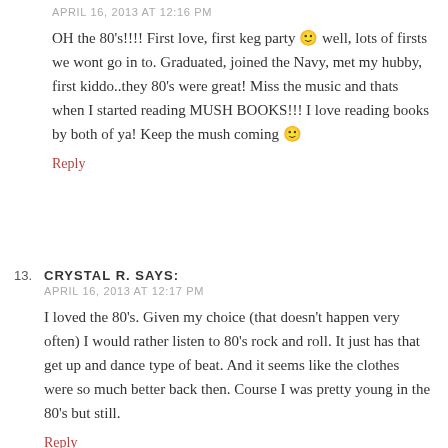TERESA'S SAYS: APRIL 16, 2013 AT 12:16 PM
OH the 80's!!!! First love, first keg party 🙂 well, lots of firsts we wont go in to. Graduated, joined the Navy, met my hubby, first kiddo..they 80's were great! Miss the music and thats when I started reading MUSH BOOKS!!! I love reading books by both of ya! Keep the mush coming 🙂
Reply
CRYSTAL R. SAYS: APRIL 16, 2013 AT 12:17 PM
I loved the 80's. Given my choice (that doesn't happen very often) I would rather listen to 80's rock and roll. It just has that get up and dance type of beat. And it seems like the clothes were so much better back then. Course I was pretty young in the 80's but still.
Reply